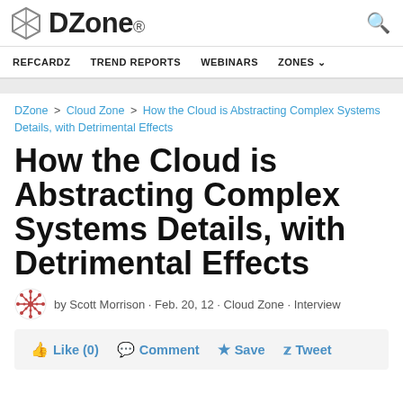DZone. [search icon]
REFCARDZ  TREND REPORTS  WEBINARS  ZONES
DZone > Cloud Zone > How the Cloud is Abstracting Complex Systems Details, with Detrimental Effects
How the Cloud is Abstracting Complex Systems Details, with Detrimental Effects
by Scott Morrison · Feb. 20, 12 · Cloud Zone · Interview
Like (0)  Comment  Save  Tweet